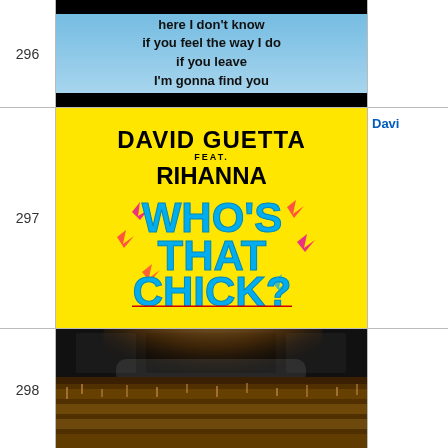[Figure (screenshot): Lyrics card with blue gradient background showing song lyrics on black letterbox bars: 'here I don't know / if you feel the way I do / if you leave / I'm gonna find you']
[Figure (photo): Album cover for David Guetta feat. Rihanna - Who's That Chick? Yellow background with colorful graffiti-style text]
Davi
[Figure (photo): Concert photo showing a large outdoor crowd with stage lights and smoke at night]
298